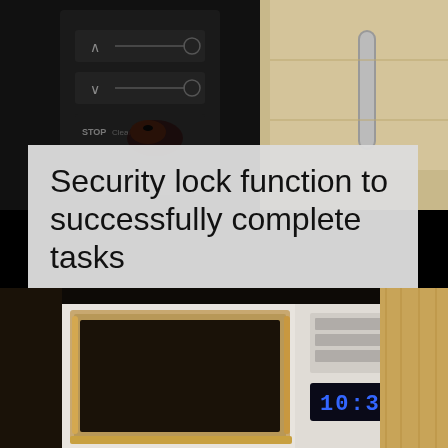[Figure (photo): Close-up of a black appliance control panel with buttons and a hand pressing a STOP button, and a stainless steel appliance visible on the right side]
Security lock function to successfully complete tasks
Using the lock function, you get the opportunity to lock the specified settings and prevent accidental reset of modes. Even your child's actions will not interfere with the tasks assigned to the appliance.
[Figure (photo): Close-up of a built-in microwave oven with stainless steel trim, a digital display showing 10:32, set in dark cabinetry with wood panel visible on the right]